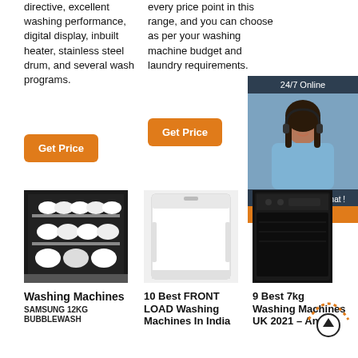directive, excellent washing performance, digital display, inbuilt heater, stainless steel drum, and several wash programs.
every price point in this range, and you can choose as per your washing machine budget and laundry requirements.
Get Price
Get Price
[Figure (photo): Customer service representative with headset, 24/7 Online ad panel with QUOTATION button]
[Figure (photo): Open dishwasher loaded with white dishes and plates]
[Figure (photo): White front-load washing machine side view]
[Figure (photo): Black built-in appliance, possibly dishwasher or oven]
Washing Machines
SAMSUNG 12KG BUBBLEWASH
10 Best FRONT LOAD Washing Machines In India
9 Best 7kg Washing Machines UK 2021 – An